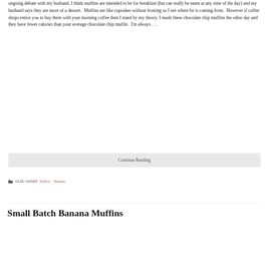ongoing debate with my husband. I think muffins are intended to be for breakfast (but can really be eaten at any time of the day) and my husband says they are more of a dessert.  Muffins are like cupcakes without frosting so I see where he is coming from.  However if coffee shops entice you to buy them with your morning coffee then I stand by my theory. I made these chocolate chip muffins the other day and they have fewer calories than your average chocolate chip muffin.  I'm always . . .
Continue Reading
FILED UNDER: Muffins, Recipes
Small Batch Banana Muffins